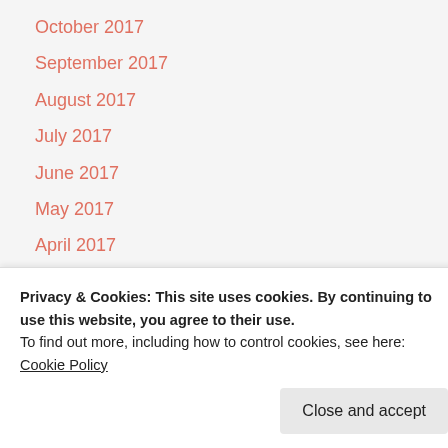October 2017
September 2017
August 2017
July 2017
June 2017
May 2017
April 2017
March 2017
February 2017
January 2017
December 2016
Privacy & Cookies: This site uses cookies. By continuing to use this website, you agree to their use.
To find out more, including how to control cookies, see here: Cookie Policy